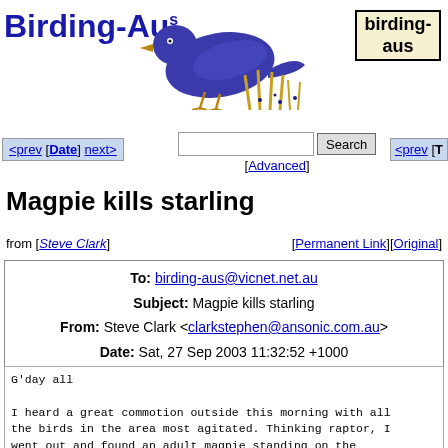[Figure (logo): Birding-Aus website header logo with stylized blue bird illustration and site name]
birding-aus [Top] [All Lists]
<prev [Date] next>  [Advanced]  <prev [T
Magpie kills starling
from [Steve Clark]   [Permanent Link][Original]
| To: | birding-aus@vicnet.net.au |
| Subject: | Magpie kills starling |
| From: | Steve Clark <clarkstephen@ansonic.com.au> |
| Date: | Sat, 27 Sep 2003 11:32:52 +1000 |
G'day all

I heard a great commotion outside this morning with all the birds in the area most agitated. Thinking raptor, I went out and found an adult magpie standing on the middle of our street with a Starling in its claws. It pecked the starling to death then flew away with it in its beak. There are lots of newly fledged starlings around at the moment but this one looked like an adult